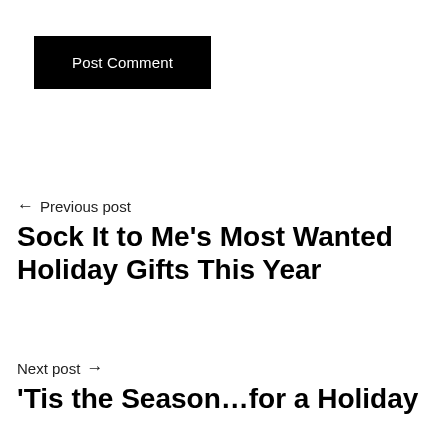[Figure (other): Black button labeled 'Post Comment']
← Previous post
Sock It to Me's Most Wanted Holiday Gifts This Year
Next post →
'Tis the Season…for a Holiday Sweater!